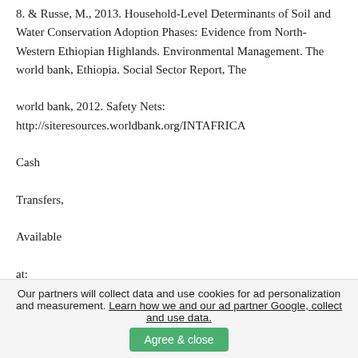8. & Russe, M., 2013. Household-Level Determinants of Soil and Water Conservation Adoption Phases: Evidence from North-Western Ethiopian Highlands. Environmental Management. The world bank, Ethiopia. Social Sector Report, The world bank, 2012. Safety Nets: http://siteresources.worldbank.org/INTAFRICA Cash Transfers, Available at:
Tilahun, M. et al., 2013. Rural Households ' Demand for Frankincense Forest Conservation in Tigray : A Continent Valuation Analysis. Land Degradation & Development, Published , p.13. Tillahun, Y., 1996. Impacts of conservation bunds on crop yields in Dogun Tembien, northern Ethiopia
Our partners will collect data and use cookies for ad personalization and measurement. Learn how we and our ad partner Google, collect and use data. Agree & close